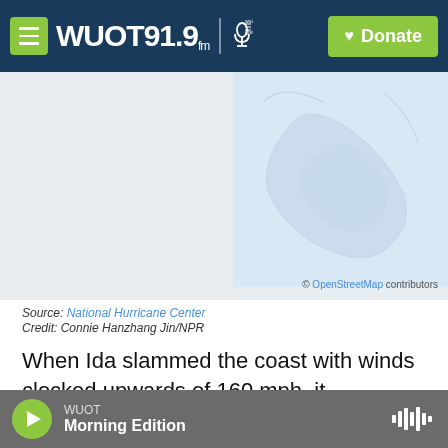WUOT 91.9 FM | Donate
[Figure (map): Partial map showing southeastern Louisiana region, with OpenStreetMap attribution. Left portion is light gray, right portion is light blue with faint illustrated elements.]
Source: National Hurricane Center
Credit: Connie Hanzhang Jin/NPR
When Ida slammed the coast with winds clocked upwards of 160 mph, it devastated the fishing town located 70 miles from New Orleans. Across southeast Louisiana, gusts sliced open roofs, tore down power lines and overturned mobile homes and boats. Although the levees largely held back
WUOT | Morning Edition